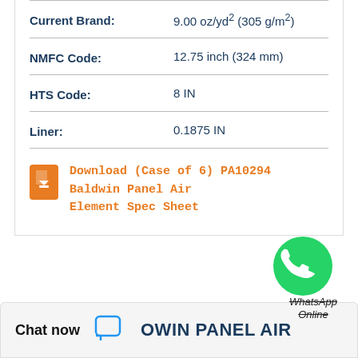| Field | Value |
| --- | --- |
| Current Brand: | 9.00 oz/yd² (305 g/m²) |
| NMFC Code: | 12.75 inch (324 mm) |
| HTS Code: | 8 IN |
| Liner: | 0.1875 IN |
[Figure (logo): WhatsApp green circle logo with phone icon, labeled 'WhatsApp Online' with strikethrough text]
Download (Case of 6) PA10294 Baldwin Panel Air Element Spec Sheet
Chat now   OWIN PANEL AIR